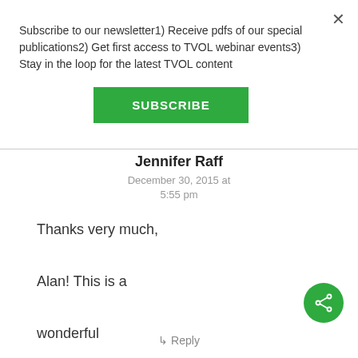Subscribe to our newsletter1) Receive pdfs of our special publications2) Get first access to TVOL webinar events3) Stay in the loop for the latest TVOL content
SUBSCRIBE
Jennifer Raff
December 30, 2015 at 5:55 pm
Thanks very much, Alan! This is a wonderful resource.
Reply